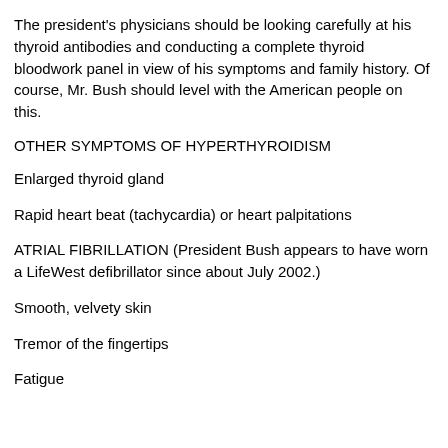The president's physicians should be looking carefully at his thyroid antibodies and conducting a complete thyroid bloodwork panel in view of his symptoms and family history. Of course, Mr. Bush should level with the American people on this.
OTHER SYMPTOMS OF HYPERTHYROIDISM
Enlarged thyroid gland
Rapid heart beat (tachycardia) or heart palpitations
ATRIAL FIBRILLATION (President Bush appears to have worn a LifeWest defibrillator since about July 2002.)
Smooth, velvety skin
Tremor of the fingertips
Fatigue